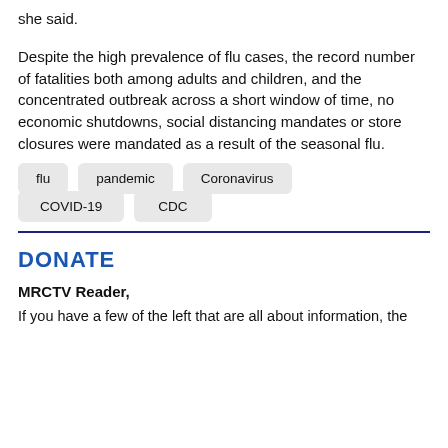she said.
Despite the high prevalence of flu cases, the record number of fatalities both among adults and children, and the concentrated outbreak across a short window of time, no economic shutdowns, social distancing mandates or store closures were mandated as a result of the seasonal flu.
flu
pandemic
Coronavirus
COVID-19
CDC
DONATE
MRCTV Reader,
If you have a few of the left that are all about information, the